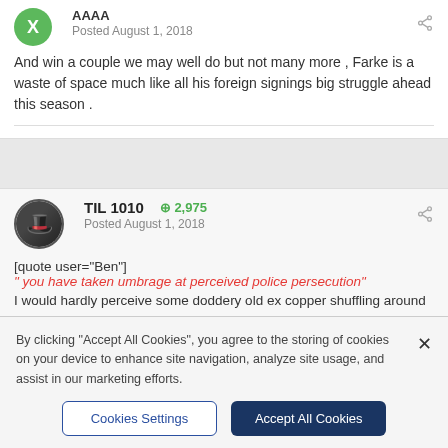AAAA · Posted August 1, 2018
And win a couple we may well do but not many more , Farke is a waste of space much like all his foreign signings big struggle ahead this season .
TIL 1010 · +2,975 · Posted August 1, 2018
[quote user="Ben"] " you have taken umbrage at perceived police persecution" I would hardly perceive some doddery old ex copper shuffling around
By clicking "Accept All Cookies", you agree to the storing of cookies on your device to enhance site navigation, analyze site usage, and assist in our marketing efforts.